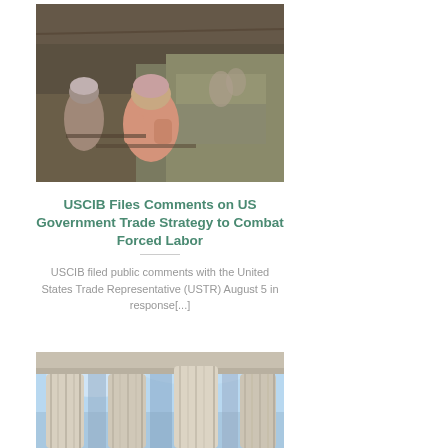[Figure (photo): Workers in a garment factory sewing fabric at workbenches, wearing headscarves, in a dim industrial setting.]
USCIB Files Comments on US Government Trade Strategy to Combat Forced Labor
USCIB filed public comments with the United States Trade Representative (USTR) August 5 in response[...]
[Figure (photo): Low-angle view of white classical stone columns of a government building against a blue sky.]